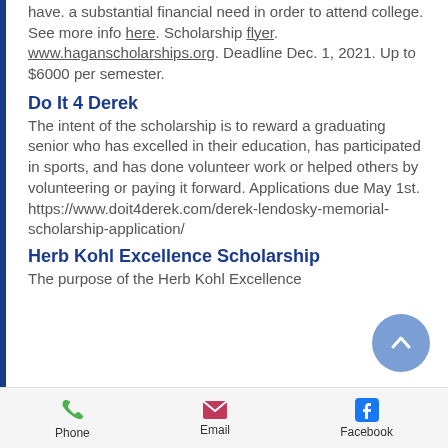have. a substantial financial need in order to attend college. See more info here. Scholarship flyer. www.haganscholarships.org. Deadline Dec. 1, 2021. Up to $6000 per semester.
Do It 4 Derek
The intent of the scholarship is to reward a graduating senior who has excelled in their education, has participated in sports, and has done volunteer work or helped others by volunteering or paying it forward. Applications due May 1st. https://www.doit4derek.com/derek-lendosky-memorial-scholarship-application/
Herb Kohl Excellence Scholarship
The purpose of the Herb Kohl Excellence
Phone   Email   Facebook